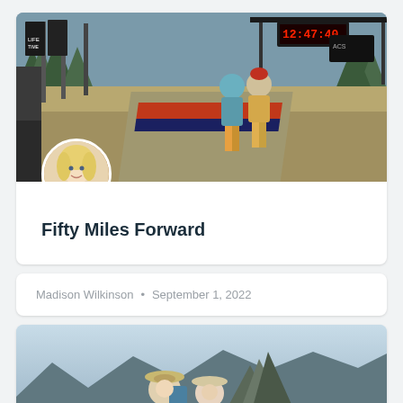[Figure (photo): Hero image of runners crossing finish line at an ultramarathon race, with race banners, timing clock showing 12:47:40, and a finish line carpet. Outdoor event in a clearing with trees in background.]
Fifty Miles Forward
Madison Wilkinson · September 1, 2022
[Figure (photo): Two hikers smiling on a mountain summit with a rocky peak and blue sky in the background.]